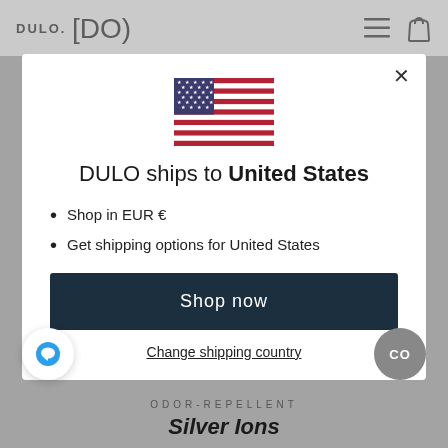DULO. [DO)
[Figure (illustration): US flag emoji/illustration centered in modal]
DULO ships to United States
Shop in EUR €
Get shipping options for United States
Shop now
Change shipping country
ODOR-REPELLENT
Silver Ions